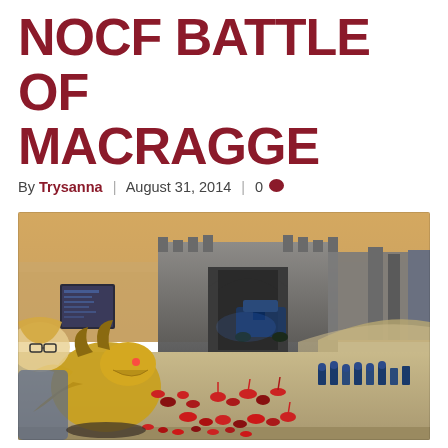NOCF BATTLE OF MACRAGGE
By Trysanna | August 31, 2014 | 0
[Figure (photo): Warhammer 40K tabletop miniature battle scene showing Tyranid and Space Marine armies on a large display table with painted terrain including castle walls and barricades, with a convention attendee visible in the background.]